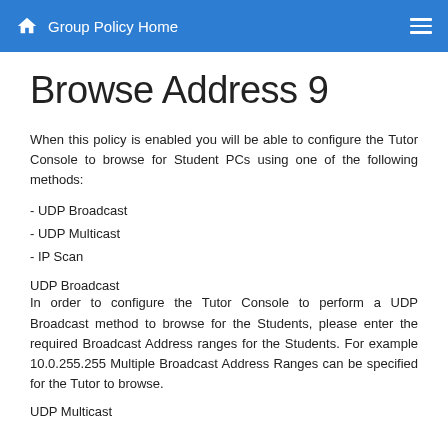Group Policy Home
Browse Address 9
When this policy is enabled you will be able to configure the Tutor Console to browse for Student PCs using one of the following methods:
- UDP Broadcast
- UDP Multicast
- IP Scan
UDP Broadcast
In order to configure the Tutor Console to perform a UDP Broadcast method to browse for the Students, please enter the required Broadcast Address ranges for the Students. For example 10.0.255.255 Multiple Broadcast Address Ranges can be specified for the Tutor to browse.
UDP Multicast